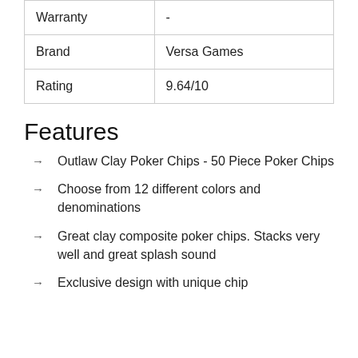| Warranty | - |
| Brand | Versa Games |
| Rating | 9.64/10 |
Features
Outlaw Clay Poker Chips - 50 Piece Poker Chips
Choose from 12 different colors and denominations
Great clay composite poker chips. Stacks very well and great splash sound
Exclusive design with unique chip